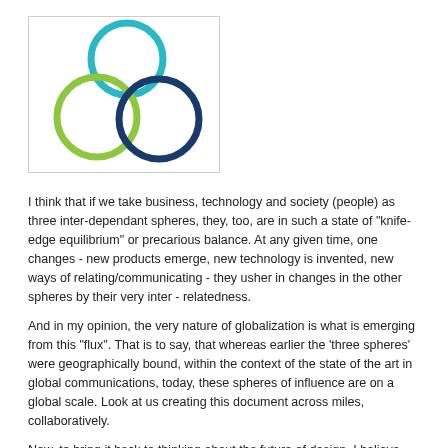[Figure (logo): Three overlapping circles logo: one teal/cyan at top center, one green at bottom left, one dark navy blue at bottom right, arranged in a triangular overlapping pattern, inside a light gray bordered box.]
I think that if we take business, technology and society (people) as three inter-dependant spheres, they, too, are in such a state of "knife-edge equilibrium" or precarious balance. At any given time, one changes - new products emerge, new technology is invented, new ways of relating/communicating - they usher in changes in the other spheres by their very inter - relatedness.
And in my opinion, the very nature of globalization is what is emerging from this "flux". That is to say, that whereas earlier the 'three spheres' were geographically bound, within the context of the state of the art in global communications, today, these spheres of influence are on a global scale. Look at us creating this document across miles, collaboratively.
Now, to bring it back to thinking about the future of design, I believe that designers are in a particularly unique position, only because of their ability to recognize patterns, an inherent